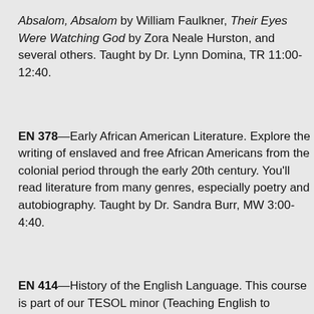Absalom, Absalom by William Faulkner, Their Eyes Were Watching God by Zora Neale Hurston, and several others. Taught by Dr. Lynn Domina, TR 11:00-12:40.
EN 378—Early African American Literature. Explore the writing of enslaved and free African Americans from the colonial period through the early 20th century. You'll read literature from many genres, especially poetry and autobiography. Taught by Dr. Sandra Burr, MW 3:00-4:40.
EN 414—History of the English Language. This course is part of our TESOL minor (Teaching English to Speakers of Other Languages—the TESOL minor is a great credential to earn if you are interested in an